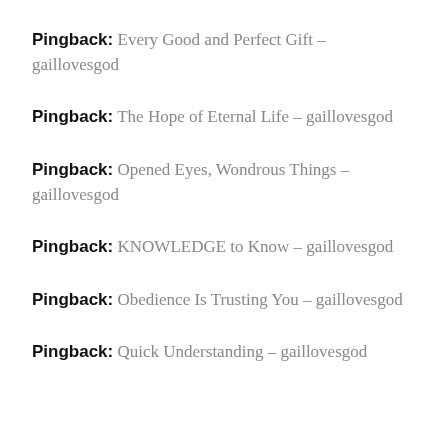Pingback: Every Good and Perfect Gift – gaillovesgod
Pingback: The Hope of Eternal Life – gaillovesgod
Pingback: Opened Eyes, Wondrous Things – gaillovesgod
Pingback: KNOWLEDGE to Know – gaillovesgod
Pingback: Obedience Is Trusting You – gaillovesgod
Pingback: Quick Understanding – gaillovesgod